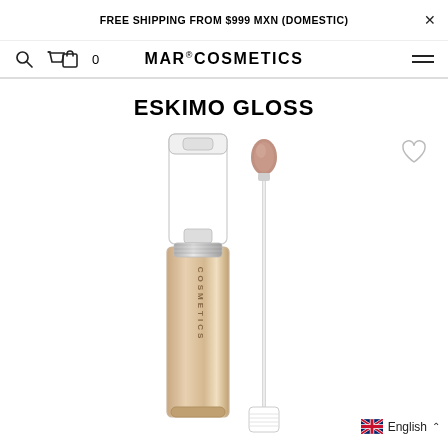FREE SHIPPING FROM $999 MXN (DOMESTIC)
MAR® COSMETICS
ESKIMO GLOSS
[Figure (photo): Product photo of Eskimo Gloss lip gloss by MAR Cosmetics. Shows the lip gloss tube with a shimmery nude/tan metallic barrel labeled COSMETICS, with the applicator wand removed showing a mauve-brown gloss applicator tip on a clear wand. The tube cap is shown upright in the background.]
English